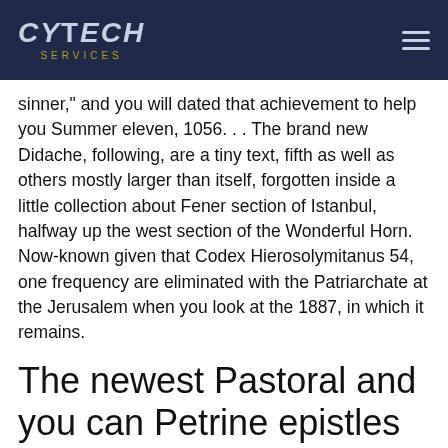CYTECH SERVICES
sinner," and you will dated that achievement to help you Summer eleven, 1056. . . The brand new Didache, following, are a tiny text, fifth as well as others mostly larger than itself, forgotten inside a little collection about Fener section of Istanbul, halfway up the west section of the Wonderful Horn. Now-known given that Codex Hierosolymitanus 54, one frequency are eliminated with the Patriarchate at the Jerusalem when you look at the 1887, in which it remains.
The newest Pastoral and you can Petrine epistles come from a somewhat later on big date, whenever authority